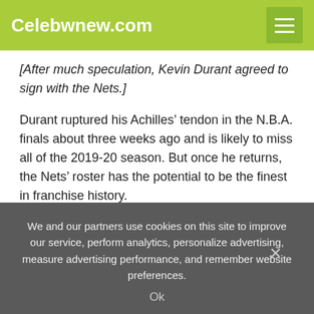Celebwnew.com
[After much speculation, Kevin Durant agreed to sign with the Nets.]
Durant ruptured his Achilles’ tendon in the N.B.A. finals about three weeks ago and is likely to miss all of the 2019-20 season. But once he returns, the Nets’ roster has the potential to be the finest in franchise history.
In agreeing to sign Irving, 27, who grew up in West Orange, N.J., the Nets are moving on from D’Angelo Russell, the 23-year-old point guard who stepped up to become an All-Star
We and our partners use cookies on this site to improve our service, perform analytics, personalize advertising, measure advertising performance, and remember website preferences.
Ok